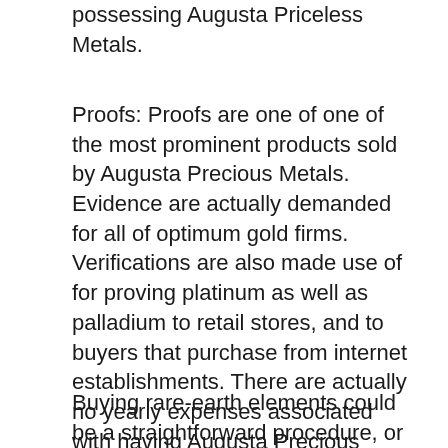possessing Augusta Priceless Metals.
Proofs: Proofs are one of one of the most prominent products sold by Augusta Precious Metals. Evidence are actually demanded for all of optimum gold firms. Verifications are also made use of for proving platinum as well as palladium to retail stores, and to buyers that purchase from internet establishments. There are actually no yearly expenses associated with having Augusta Precious Metals, and there is actually an easy accounting system demanded for all of your deals.
Buying rare-earth elements could be a straightforward procedure, or even it may be difficult, depending on how you choose...